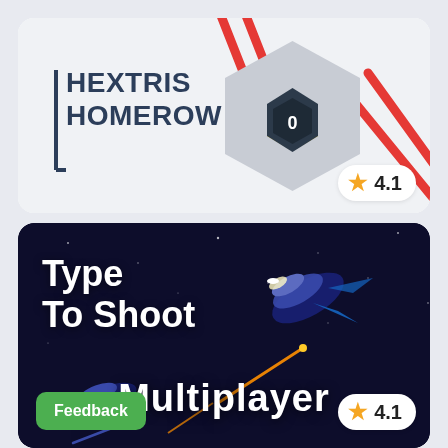[Figure (screenshot): Hextris Homerow game card with hexagon graphic, red diagonal lines on light gray background, rating 4.1]
[Figure (screenshot): Type To Shoot / Multiplayer game card with dark space background, spaceships, and rating 4.1. Feedback button bottom left.]